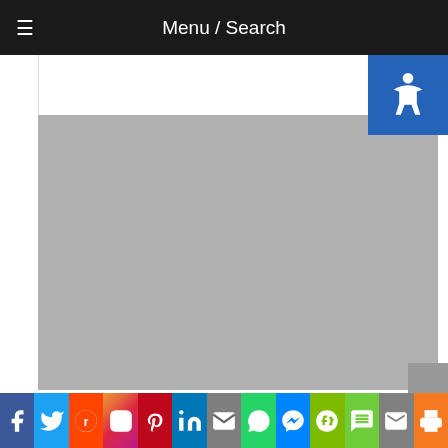Menu / Search
[Figure (photo): Gray placeholder image area (top)]
Grub Worms
[Figure (photo): Gray placeholder image area (bottom)]
Social sharing bar with icons: Facebook, Twitter, Reddit, Instagram, Pinterest, LinkedIn, Email, WhatsApp, Messenger, Evernote, SMS, Mail, Print